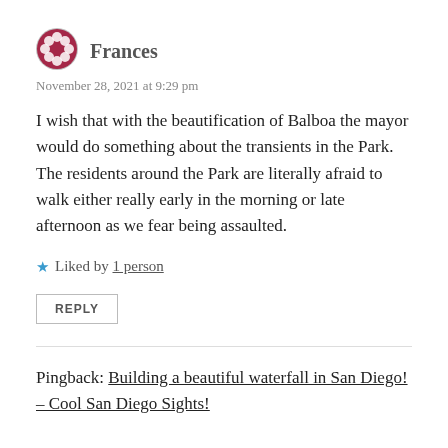[Figure (illustration): Circular avatar icon with red/dark pattern (gravatar-style) for user Frances]
Frances
November 28, 2021 at 9:29 pm
I wish that with the beautification of Balboa the mayor would do something about the transients in the Park.
The residents around the Park are literally afraid to walk either really early in the morning or late afternoon as we fear being assaulted.
★ Liked by 1 person
REPLY
Pingback: Building a beautiful waterfall in San Diego! – Cool San Diego Sights!